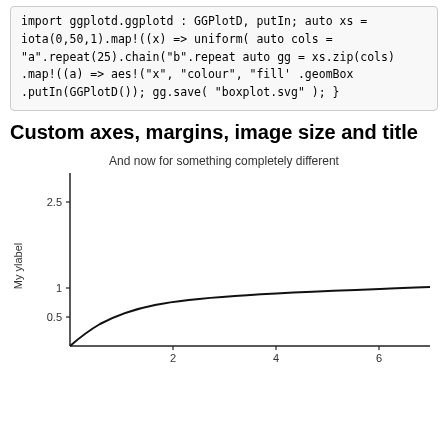import ggplotd.ggplotd : GGPlotD, putIn;

auto xs = iota(0,50,1).map!((x) => uniform(
auto cols = "a".repeat(25).chain("b".repeat
auto gg = xs.zip(cols)
      .map!((a) => aes!("x", "colour", "fill'
      .geomBox
      .putIn(GGPlotD());
    gg.save( "boxplot.svg" );
}
Custom axes, margins, image size and title
[Figure (continuous-plot): A logarithmic-like curve starting from near zero at x~0, rising steeply then flattening, approaching approximately 0.85 as x approaches 7. Y-axis ticks at 0.5, 1, 2.5. X-axis ticks at 2, 4, 6.]